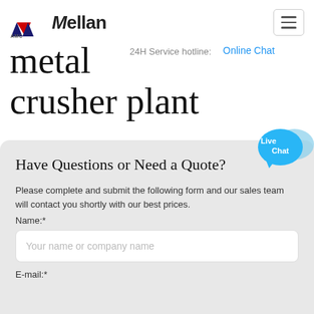[Figure (logo): AMC Mellan logo with triangular red/blue/dark graphic mark and bold brand name]
24H Service hotline:
Online Chat
metal crusher plant
[Figure (illustration): Live Chat speech bubble icon in cyan/light blue]
Have Questions or Need a Quote?
Please complete and submit the following form and our sales team will contact you shortly with our best prices.
Name:*
Your name or company name
E-mail:*